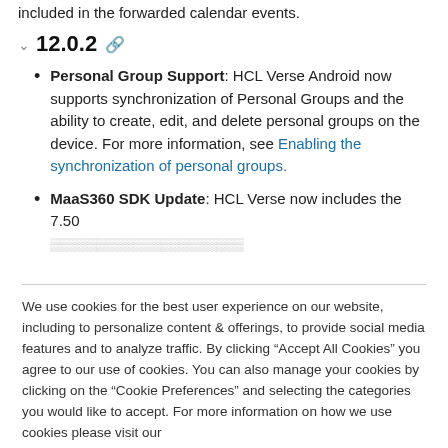included in the forwarded calendar events.
12.0.2
Personal Group Support: HCL Verse Android now supports synchronization of Personal Groups and the ability to create, edit, and delete personal groups on the device. For more information, see Enabling the synchronization of personal groups.
MaaS360 SDK Update: HCL Verse now includes the 7.50 version of the MaaS360 SDK.
We use cookies for the best user experience on our website, including to personalize content & offerings, to provide social media features and to analyze traffic. By clicking “Accept All Cookies” you agree to our use of cookies. You can also manage your cookies by clicking on the “Cookie Preferences” and selecting the categories you would like to accept. For more information on how we use cookies please visit our Cookie Statement and Privacy Statement
Cookie Preferences
Accept All Cookies